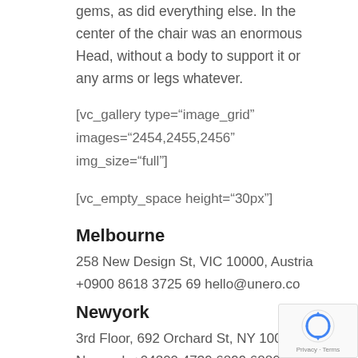gems, as did everything else. In the center of the chair was an enormous Head, without a body to support it or any arms or legs whatever.
[vc_gallery type="image_grid" images="2454,2455,2456" img_size="full"]
[vc_empty_space height="30px"]
Melbourne
258 New Design St, VIC 10000, Austria
+0900 8618 3725 69 hello@unero.co
Newyork
3rd Floor, 692 Orchard St, NY 10000,
Newyork +04200 4739 6899 6880
office@unero.co
[vc_custom_heading text="We Love Our